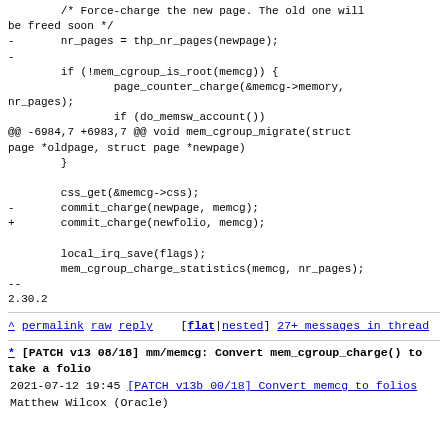/* Force-charge the new page. The old one will be freed soon */
-       nr_pages = thp_nr_pages(newpage);
-
        if (!mem_cgroup_is_root(memcg)) {
                page_counter_charge(&memcg->memory,
nr_pages);
                if (do_memsw_account())
@@ -6984,7 +6983,7 @@ void mem_cgroup_migrate(struct page *oldpage, struct page *newpage)
        }

        css_get(&memcg->css);
-       commit_charge(newpage, memcg);
+       commit_charge(newfolio, memcg);

        local_irq_save(flags);
        mem_cgroup_charge_statistics(memcg, nr_pages);
--
2.30.2
^ permalink raw reply [flat|nested] 27+ messages in thread
* [PATCH v13 08/18] mm/memcg: Convert mem_cgroup_charge() to take a folio
  2021-07-12 19:45 [PATCH v13b 00/18] Convert memcg to folios Matthew Wilcox (Oracle)